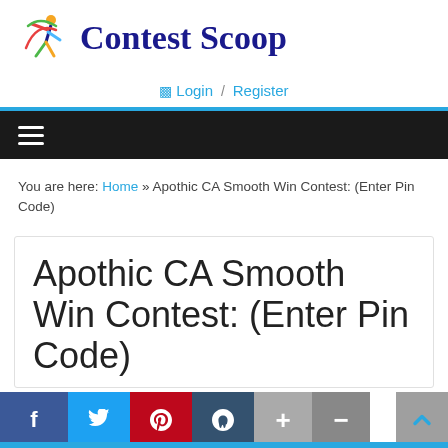[Figure (logo): Contest Scoop logo with colorful figure icon and dark blue serif text]
Login / Register
[Figure (screenshot): Dark navigation bar with hamburger menu icon]
You are here: Home » Apothic CA Smooth Win Contest: (Enter Pin Code)
Apothic CA Smooth Win Contest: (Enter Pin Code)
[Figure (screenshot): Social sharing bar with Facebook, Twitter, Pinterest, Tumblr, plus and minus buttons]